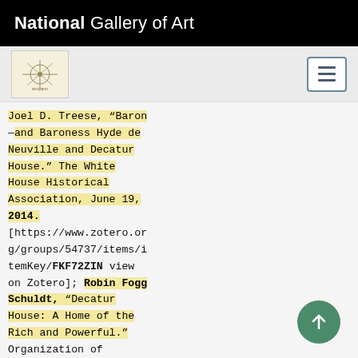National Gallery of Art
Joel D. Treese, “Baron —and Baroness Hyde de Neuville and Decatur House.” The White House Historical Association, June 19, 2014. [https://www.zotero.org/groups/54737/items/itemKey/FKF72ZIN view on Zotero]; Robin Fogg Schuldt, “Decatur House: A Home of the Rich and Powerful.” Organization of ''American Historians Magazine of History'' 11, no. 2 (Winter...